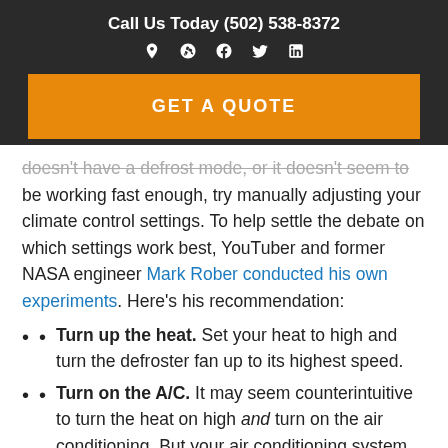Call Us Today (502) 538-8372
[Figure (other): Social media icons: location pin, Yelp, Facebook, Twitter, LinkedIn]
GET A QUOTE
doesn't have a defrost mode, or it doesn't seem to be working fast enough, try manually adjusting your climate control settings. To help settle the debate on which settings work best, YouTuber and former NASA engineer Mark Rober conducted his own experiments. Here's his recommendation:
Turn up the heat. Set your heat to high and turn the defroster fan up to its highest speed.
Turn on the A/C. It may seem counterintuitive to turn the heat on high and turn on the air conditioning. But your air conditioning system